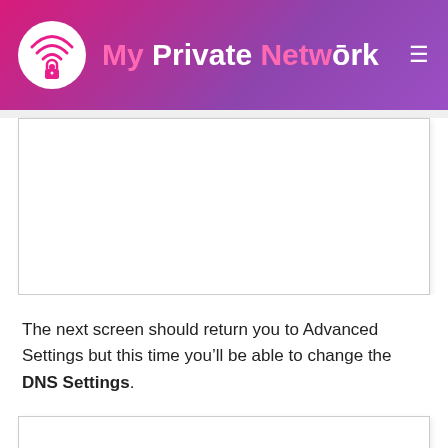My Private Network
[Figure (screenshot): Screenshot area placeholder (top image box, partially visible)]
The next screen should return you to Advanced Settings but this time you’ll be able to change the DNS Settings.
[Figure (screenshot): Screenshot area placeholder (bottom image box, partially visible)]